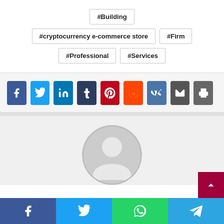#Building
#cryptocurrency e-commerce store
#Firm
#Professional
#Services
[Figure (infographic): Row of social share buttons: Facebook (blue), Twitter (light blue), LinkedIn (dark blue), Tumblr (navy), Pinterest (red), Reddit (orange), VK (steel blue), Email (dark gray), Print (gray)]
[Figure (photo): Default user avatar silhouette in gray circle]
[Figure (infographic): Bottom share bar with Facebook, Twitter, WhatsApp, Telegram buttons]